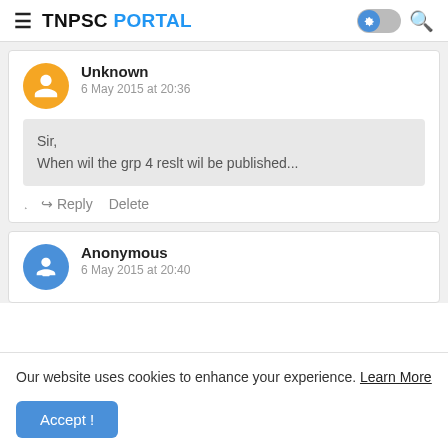TNPSC PORTAL
Unknown
6 May 2015 at 20:36
Sir,
When wil the grp 4 reslt wil be published...
Reply   Delete
Anonymous
6 May 2015 at 20:40
Our website uses cookies to enhance your experience. Learn More
Accept !